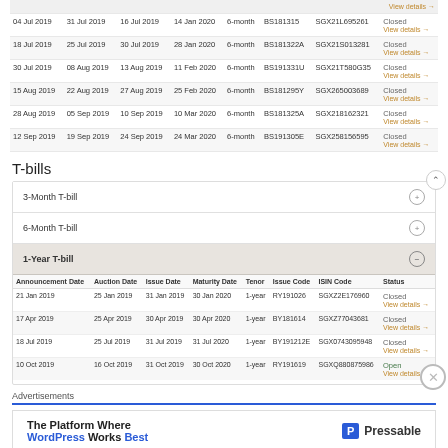| Announcement Date | Auction Date | Issue Date | Maturity Date | Tenor | Issue Code | ISIN Code | Status |
| --- | --- | --- | --- | --- | --- | --- | --- |
| 04 Jul 2019 | 31 Jul 2019 | 16 Jul 2019 | 14 Jan 2020 | 6-month | BS181315 | SGX21L695261 | Closed
View details → |
| 18 Jul 2019 | 25 Jul 2019 | 30 Jul 2019 | 28 Jan 2020 | 6-month | BS181322A | SGX21S013281 | Closed
View details → |
| 30 Jul 2019 | 08 Aug 2019 | 13 Aug 2019 | 11 Feb 2020 | 6-month | BS191331U | SGX21T580G35 | Closed
View details → |
| 15 Aug 2019 | 22 Aug 2019 | 27 Aug 2019 | 25 Feb 2020 | 6-month | BS181295Y | SGX265003689 | Closed
View details → |
| 28 Aug 2019 | 05 Sep 2019 | 10 Sep 2019 | 10 Mar 2020 | 6-month | BS181325A | SGX218162321 | Closed
View details → |
| 12 Sep 2019 | 19 Sep 2019 | 24 Sep 2019 | 24 Mar 2020 | 6-month | BS191305E | SGX258156595 | Closed
View details → |
T-bills
| 3-Month T-bill |
| 6-Month T-bill |
| 1-Year T-bill |
| Announcement Date | Auction Date | Issue Date | Maturity Date | Tenor | Issue Code | ISIN Code | Status |
| --- | --- | --- | --- | --- | --- | --- | --- |
| 21 Jan 2019 | 25 Jan 2019 | 31 Jan 2019 | 30 Jan 2020 | 1-year | RY191026 | SGXZ2E176960 | Closed
View details → |
| 17 Apr 2019 | 25 Apr 2019 | 30 Apr 2019 | 30 Apr 2020 | 1-year | BY181614 | SGXZ77043681 | Closed
View details → |
| 18 Jul 2019 | 25 Jul 2019 | 31 Jul 2019 | 31 Jul 2020 | 1-year | BY191212E | SGX0743095948 | Closed
View details → |
| 10 Oct 2019 | 16 Oct 2019 | 31 Oct 2019 | 30 Oct 2020 | 1-year | RY191619 | SGXQ880875986 | Open
View details → |
Advertisements
[Figure (illustration): Pressable advertisement: The Platform Where WordPress Works Best]